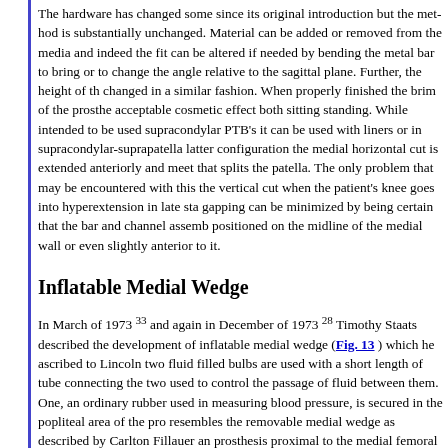The hardware has changed some since its original introduction but the method is substantially unchanged. Material can be added or removed from the medial wall and indeed the fit can be altered if needed by bending the metal bar to bring or to change the angle relative to the sagittal plane. Further, the height of the changed in a similar fashion. When properly finished the brim of the prosthe acceptable cosmetic effect both sitting standing. While intended to be used supracondylar PTB's it can be used with liners or in supracondylar-suprapatella latter configuration the medial horizontal cut is extended anteriorly and meets that splits the patella. The only problem that may be encountered with this the vertical cut when the patient's knee goes into hyperextension in late stance gapping can be minimized by being certain that the bar and channel assembly positioned on the midline of the medial wall or even slightly anterior to it.
Inflatable Medial Wedge
In March of 1973 33 and again in December of 1973 28 Timothy Staats described the development of inflatable medial wedge (Fig. 13) which he ascribed to Lincoln two fluid filled bulbs are used with a short length of tube connecting the two used to control the passage of fluid between them. One, an ordinary rubber used in measuring blood pressure, is secured in the popliteal area of the prosthesis resembles the removable medial wedge as described by Carlton Fillauer and prosthesis proximal to the medial femoral condyle. In use fluid would be pumped suspension wedge to affect suspension and evacuated to permit donning and feature is that it permits the patient to adjust the suspension so suit himself fluctuations.
Mr. Staats mentioned that a limited number of patients were fitted with very but that numbers were limited by the number of units available. Leakage appeared problem with the first units fabricated but this was subsequently eliminated.